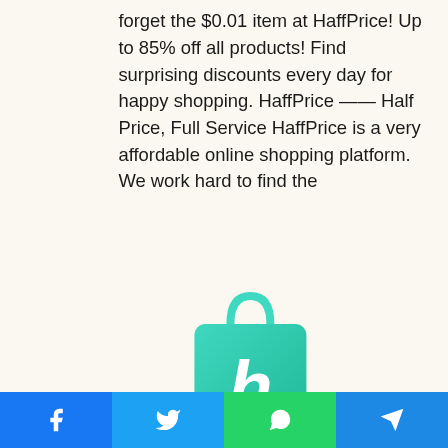forget the $0.01 item at HaffPrice! Up to 85% off all products! Find surprising discounts every day for happy shopping. HaffPrice —— Half Price, Full Service HaffPrice is a very affordable online shopping platform. We work hard to find the
[Figure (logo): HaffPrice app logo: a teal/mint colored shopping bag with a white stylized lowercase 'h' letter, below which the text 'HaffPrice' appears in bold italic black font]
[Figure (infographic): Red rounded button labeled 'Similarity Rate : 53 %' with a dash symbol to the right]
Similar Apps